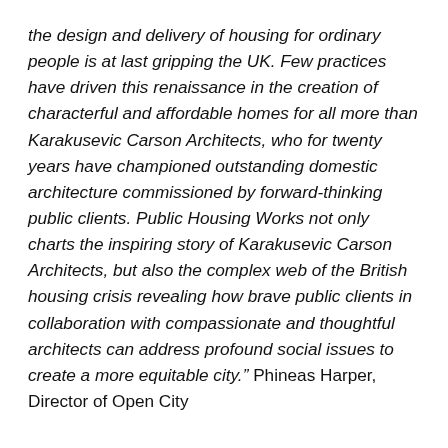the design and delivery of housing for ordinary people is at last gripping the UK. Few practices have driven this renaissance in the creation of characterful and affordable homes for all more than Karakusevic Carson Architects, who for twenty years have championed outstanding domestic architecture commissioned by forward-thinking public clients. Public Housing Works not only charts the inspiring story of Karakusevic Carson Architects, but also the complex web of the British housing crisis revealing how brave public clients in collaboration with compassionate and thoughtful architects can address profound social issues to create a more equitable city.” Phineas Harper, Director of Open City
Published by Lund Humphries, 2021
To order the book: https://bit.ly/3Ch91fa